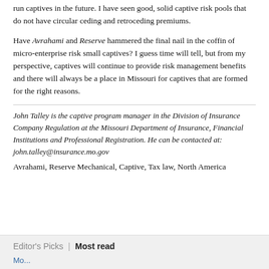run captives in the future. I have seen good, solid captive risk pools that do not have circular ceding and retroceding premiums.
Have Avrahami and Reserve hammered the final nail in the coffin of micro-enterprise risk small captives? I guess time will tell, but from my perspective, captives will continue to provide risk management benefits and there will always be a place in Missouri for captives that are formed for the right reasons.
John Talley is the captive program manager in the Division of Insurance Company Regulation at the Missouri Department of Insurance, Financial Institutions and Professional Registration. He can be contacted at: john.talley@insurance.mo.gov
Avrahami, Reserve Mechanical, Captive, Tax law, North America
Editor's Picks | Most read